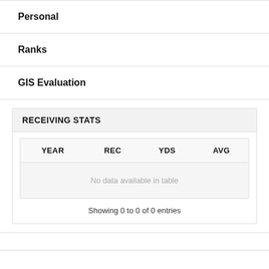Personal
Ranks
GIS Evaluation
| YEAR | REC | YDS | AVG |
| --- | --- | --- | --- |
| No data available in table |
Showing 0 to 0 of 0 entries